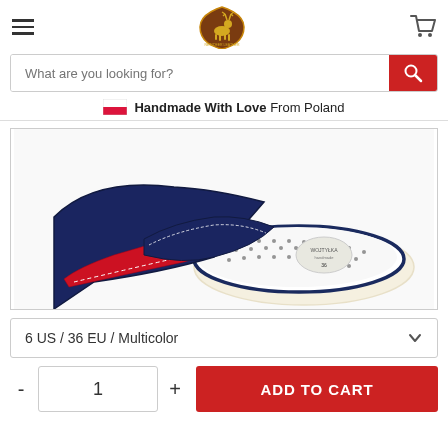[Figure (logo): Reindeer Leather brand logo - brown shield shape with deer illustration]
What are you looking for?
🇵🇱 Handmade With Love From Poland
[Figure (photo): Close-up of leather sandal/slipper showing navy blue and red leather upper with white perforated insole, size 36 marked on insole label]
6 US / 36 EU / Multicolor
- 1 + ADD TO CART